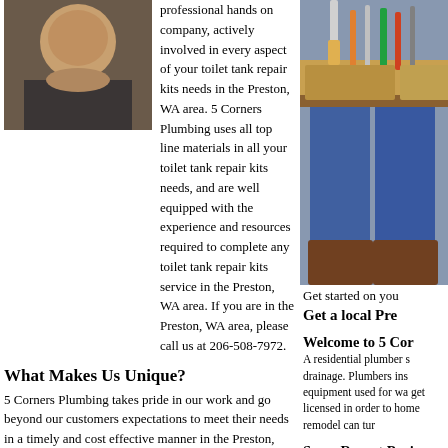[Figure (photo): Man in dark t-shirt, professional plumber portrait photo]
professional hands on company, actively involved in every aspect of your toilet tank repair kits needs in the Preston, WA area. 5 Corners Plumbing uses all top line materials in all your toilet tank repair kits needs, and are well equipped with the experience and resources required to complete any toilet tank repair kits service in the Preston, WA area. If you are in the Preston, WA area, please call us at 206-508-7972.
[Figure (photo): Plumber wearing tool belt with tools visible, jeans and work boots]
Get started on you
Get a local Pre
What Makes Us Unique?
5 Corners Plumbing takes pride in our work and go beyond our customers expectations to meet their needs in a timely and cost effective manner in the Preston, WA area. 5 Corners Plumbing is a reliable plumber in the Preston, WA area with experience in all your toilet tank repair kits needs. Over the years 5 Corners Plumbing has had hands on experience with all toilet tank repair kits services in the Preston, WA area, and are well informed as to the proper application of each. For your toilet tank repair kits needs in the Preston, WA area, please give us a call at 206-508-7972.
Welcome to 5 Cor
A residential plumber s drainage. Plumbers ins equipment used for wa get licensed in order to home remodel can tur
Services
Some Recent Proj
- Faucets, Fixtures and Pipes - Repair or
[Figure (photo): Recent project photo, partial view]